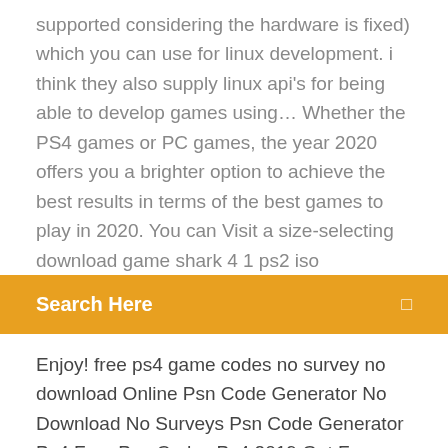supported considering the hardware is fixed) which you can use for linux development. i think they also supply linux api's for being able to develop games using… Whether the PS4 games or PC games, the year 2020 offers you a brighter option to achieve the best results in terms of the best games to play in 2020. You can Visit a size-selecting download game shark 4 1 ps2 iso
Search Here
Enjoy! free ps4 game codes no survey no download Online Psn Code Generator No Download No Surveys Psn Code Generator Ps4 Free Psn Codes Ps4 2019 Get Free Psn Card Reedem Code 2019 Playstation Codes 2019 Psn Codes No Human Verification… Despite being sold at relatively high prices, Limbo has achieved tens of millions of instalments and brought a major source of revenue for the publisher.
Browse the latest PS3 games, see unbeatable console bundles and shop everything from PS3 controllers to headsets and